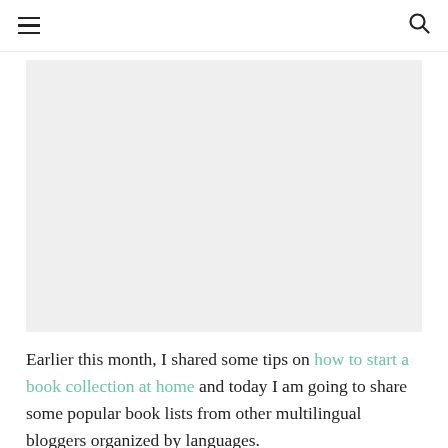[hamburger menu icon] [search icon]
[Figure (photo): A light gray rectangular placeholder image area, likely a book-related photograph.]
Earlier this month, I shared some tips on how to start a book collection at home and today I am going to share some popular book lists from other multilingual bloggers organized by languages.